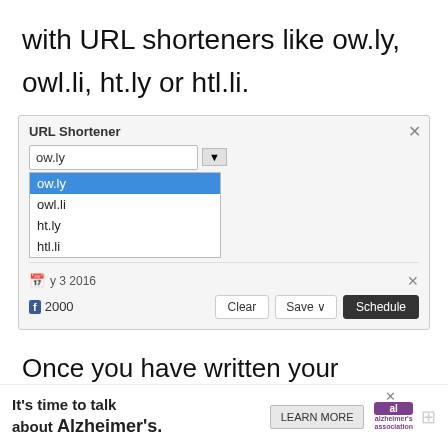with URL shorteners like ow.ly, owl.li, ht.ly or htl.li.
[Figure (screenshot): URL Shortener dropdown UI showing options: ow.ly (selected/highlighted in blue), owl.li, ht.ly, htl.li. Below shows a calendar icon with date 'y 3 2016', Facebook icon with count 2000, and buttons: Clear, Save, Schedule.]
Once you have written your message with all the settings and attachments, you can choose to send it immediately or save as a draft. A message draft can be viewed and modified
[Figure (screenshot): Advertisement banner: 'It's time to talk about Alzheimer's.' with LEARN MORE button and Alzheimer's Association logo.]